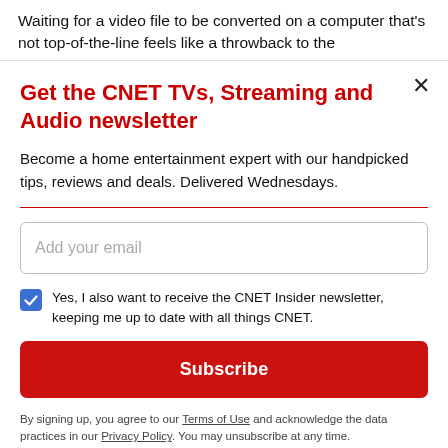Waiting for a video file to be converted on a computer that's not top-of-the-line feels like a throwback to the
Get the CNET TVs, Streaming and Audio newsletter
Become a home entertainment expert with our handpicked tips, reviews and deals. Delivered Wednesdays.
Add your email
Yes, I also want to receive the CNET Insider newsletter, keeping me up to date with all things CNET.
Subscribe
By signing up, you agree to our Terms of Use and acknowledge the data practices in our Privacy Policy. You may unsubscribe at any time.